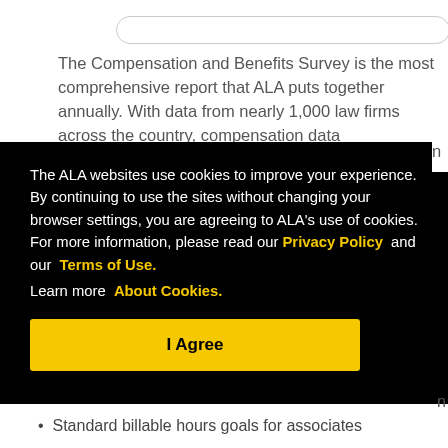The Compensation and Benefits Survey is the most comprehensive report that ALA puts together annually. With data from nearly 1,000 law firms across the country, compensation data
The ALA websites use cookies to improve your experience. By continuing to use the sites without changing your browser settings, you are agreeing to ALA's use of cookies. For more information, please read our Privacy Policy and our Terms of Use. Learn more About Cookies.
I Agree
Standard billable hours goals for associates